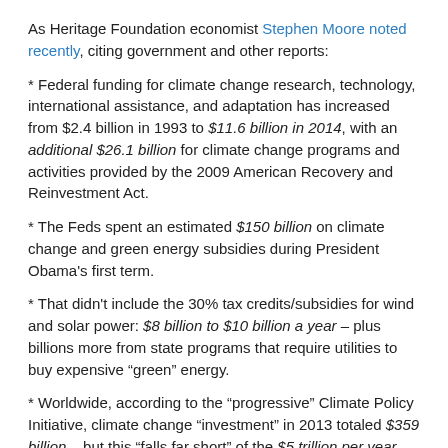As Heritage Foundation economist Stephen Moore noted recently, citing government and other reports:
* Federal funding for climate change research, technology, international assistance, and adaptation has increased from $2.4 billion in 1993 to $11.6 billion in 2014, with an additional $26.1 billion for climate change programs and activities provided by the 2009 American Recovery and Reinvestment Act.
* The Feds spent an estimated $150 billion on climate change and green energy subsidies during President Obama's first term.
* That didn't include the 30% tax credits/subsidies for wind and solar power: $8 billion to $10 billion a year – plus billions more from state programs that require utilities to buy expensive “green” energy.
* Worldwide, according to the “progressive” Climate Policy Initiative, climate change “investment” in 2013 totaled $359 billion – but this “falls far short” of the $5 trillion per year that’s actually needed.